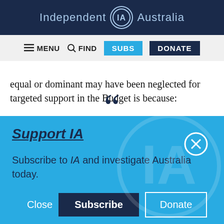Independent IA Australia
≡ MENU  🔍 FIND  SUBS  DONATE
equal or dominant may have been neglected for targeted support in the Budget is because:
[Figure (other): Subscription overlay panel: Support IA - Subscribe to IA and investigate Australia today. Buttons: Close, Subscribe, Donate. Close X button top right.]
Social icons: Twitter, Facebook, LinkedIn, Flipboard, Share, Plus